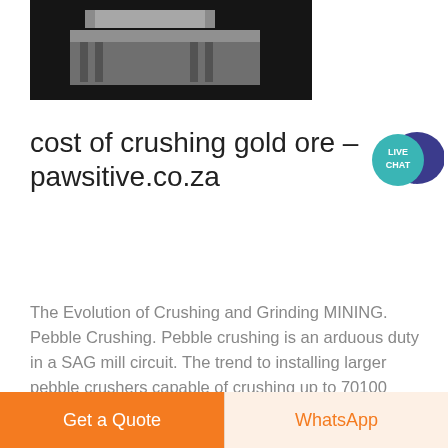[Figure (photo): Close-up industrial machinery, dark metal parts, top portion of image visible]
cost of crushing gold ore - pawsitive.co.za
[Figure (other): Live Chat speech bubble icon in teal/dark blue]
The Evolution of Crushing and Grinding MINING. Pebble Crushing. Pebble crushing is an arduous duty in a SAG mill circuit. The trend to installing larger pebble crushers capable of crushing up to 70100 percent of the new feed rate has been
[Figure (photo): Outdoor aerial view of industrial or urban area, grayscale tones, rooftops and structures visible]
Get a Quote
WhatsApp